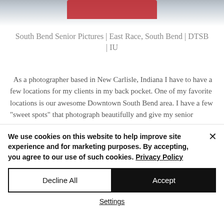[Figure (photo): Blurred/partially obscured header image with red element in center, gray tones]
South Bend Senior Pictures | East Race, South Bend | DTSB | IU
As a photographer based in New Carlisle, Indiana I have to have a few locations for my clients in my back pocket. One of my favorite locations is our awesome Downtown South Bend area. I have a few "sweet spots" that photograph beautifully and give my senior
We use cookies on this website to help improve site experience and for marketing purposes. By accepting, you agree to our use of such cookies. Privacy Policy
Decline All
Accept
Settings